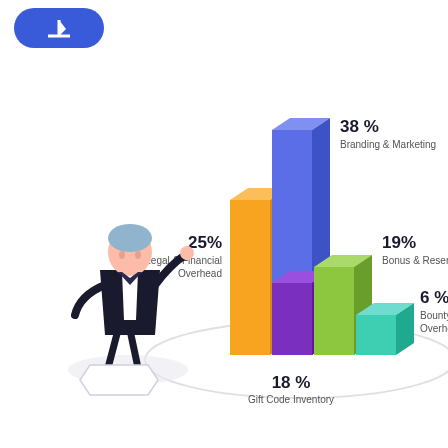[Figure (bar-chart): Token Allocation]